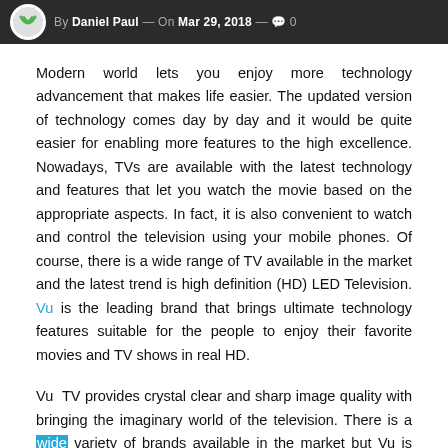By Daniel Paul — On Mar 29, 2018 — 0
Modern world lets you enjoy more technology advancement that makes life easier. The updated version of technology comes day by day and it would be quite easier for enabling more features to the high excellence. Nowadays, TVs are available with the latest technology and features that let you watch the movie based on the appropriate aspects. In fact, it is also convenient to watch and control the television using your mobile phones. Of course, there is a wide range of TV available in the market and the latest trend is high definition (HD) LED Television. Vu is the leading brand that brings ultimate technology features suitable for the people to enjoy their favorite movies and TV shows in real HD.
Vu TV provides crystal clear and sharp image quality with bringing the imaginary world of the television. There is a wide variety of brands available in the market but Vu is the most popular brand in India for providing the High Definition quality...